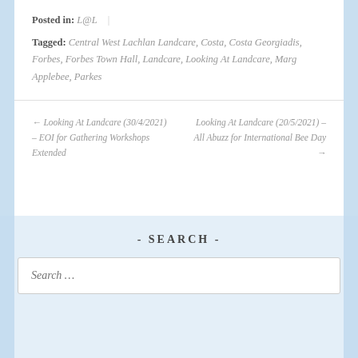Posted in: L@L  |
Tagged: Central West Lachlan Landcare, Costa, Costa Georgiadis, Forbes, Forbes Town Hall, Landcare, Looking At Landcare, Marg Applebee, Parkes
← Looking At Landcare (30/4/2021) – EOI for Gathering Workshops Extended
Looking At Landcare (20/5/2021) – All Abuzz for International Bee Day →
- SEARCH -
Search …